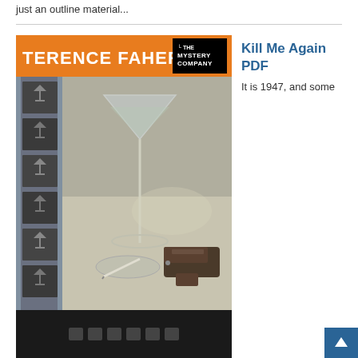just an outline material...
[Figure (photo): Book cover for 'Kill Me Again' by Terence Faherty, published by The Mystery Company. Orange header bar with author name in white bold text and The Mystery Company logo in black box. Main image shows a martini glass, ashtray with cigarette, and a pistol on a table. Left side has a film strip with frames showing martini glass silhouettes.]
Kill Me Again PDF
It is 1947, and some